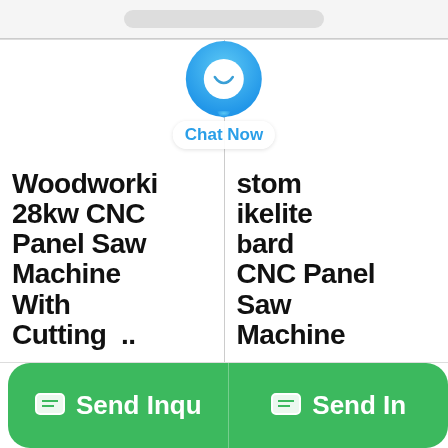[Figure (screenshot): Top pill/capsule UI element in light gray]
Woodworking 28kw CNC Panel Saw Machine With Cutting ..
Custom Bakelite Board CNC Panel Saw Machine
[Figure (other): Chat Now button overlay with blue speech bubble icon and 'Chat Now' label]
Send Inqu
Send In